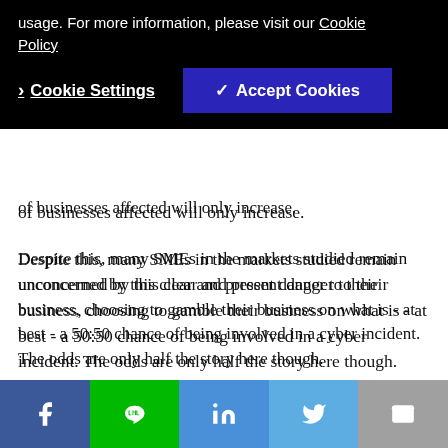usage. For more information, please visit our Cookie Policy
Cookie Settings   ✓ Accept Cookies
of businesses affected will only increase.
Despite this, many SMEs in the markets studied remain unconcerned by this clear and present danger to their business, choosing to gamble their business on what is - at best - a 50:50 chance of being involved in a cyber incident. The odds are only half the story here though.
At the core of our results this year is that SMEs remain ignorant when it comes to cyber risk and are risking it all by not investing in improving their defences. A disconnect between perceived and actual risk was apparent in our 2018 report, and it continues to persist in 2019.
[Figure (infographic): Social sharing bar with Facebook, LINE, LinkedIn, Twitter, and Email buttons]